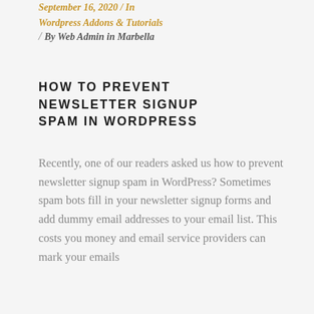September 16, 2020 / In Wordpress Addons & Tutorials / By Web Admin in Marbella
HOW TO PREVENT NEWSLETTER SIGNUP SPAM IN WORDPRESS
Recently, one of our readers asked us how to prevent newsletter signup spam in WordPress? Sometimes spam bots fill in your newsletter signup forms and add dummy email addresses to your email list. This costs you money and email service providers can mark your emails